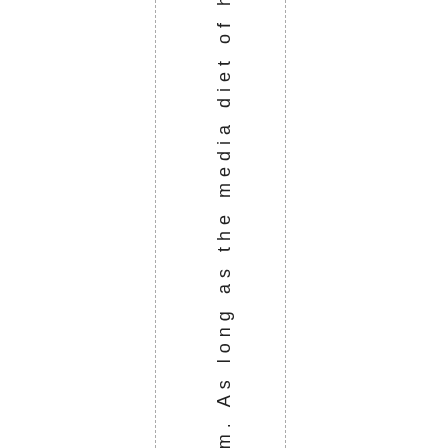roblem. As long as the media diet of h